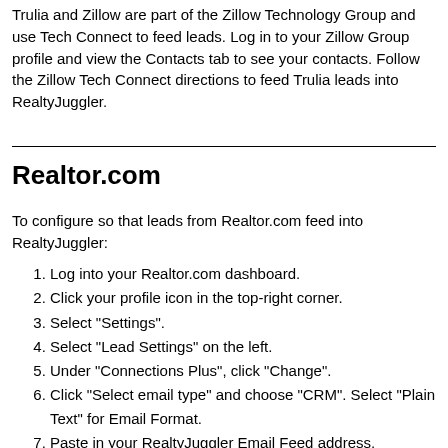Trulia and Zillow are part of the Zillow Technology Group and use Tech Connect to feed leads. Log in to your Zillow Group profile and view the Contacts tab to see your contacts. Follow the Zillow Tech Connect directions to feed Trulia leads into RealtyJuggler.
Realtor.com
To configure so that leads from Realtor.com feed into RealtyJuggler:
Log into your Realtor.com dashboard.
Click your profile icon in the top-right corner.
Select "Settings".
Select "Lead Settings" on the left.
Under "Connections Plus", click "Change".
Click "Select email type" and choose "CRM". Select "Plain Text" for Email Format.
Paste in your RealtyJuggler Email Feed address.
Click "Send test" to the right.
Click "Save" at the bottom.